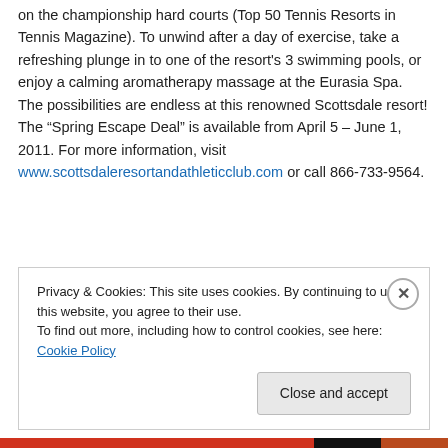on the championship hard courts (Top 50 Tennis Resorts in Tennis Magazine). To unwind after a day of exercise, take a refreshing plunge in to one of the resort's 3 swimming pools, or enjoy a calming aromatherapy massage at the Eurasia Spa. The possibilities are endless at this renowned Scottsdale resort! The “Spring Escape Deal” is available from April 5 – June 1, 2011. For more information, visit www.scottsdaleresortandathleticclub.com or call 866-733-9564.
Privacy & Cookies: This site uses cookies. By continuing to use this website, you agree to their use. To find out more, including how to control cookies, see here: Cookie Policy